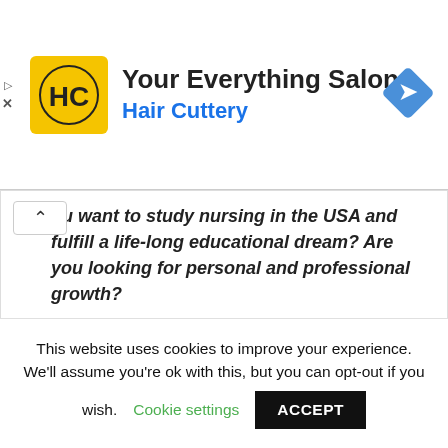[Figure (logo): Hair Cuttery advertisement banner with HC logo (yellow square with HC monogram), title 'Your Everything Salon', subtitle 'Hair Cuttery' in blue, and a blue navigation/directions diamond icon on the right]
ou want to study nursing in the USA and fulfill a life-long educational dream? Are you looking for personal and professional growth?
This website uses cookies to improve your experience. We'll assume you're ok with this, but you can opt-out if you wish. Cookie settings ACCEPT